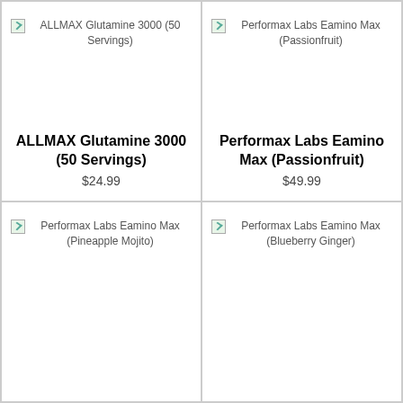[Figure (other): Product image placeholder for ALLMAX Glutamine 3000 (50 Servings)]
ALLMAX Glutamine 3000 (50 Servings)
$24.99
[Figure (other): Product image placeholder for Performax Labs Eamino Max (Passionfruit)]
Performax Labs Eamino Max (Passionfruit)
$49.99
[Figure (other): Product image placeholder for Performax Labs Eamino Max (Pineapple Mojito)]
[Figure (other): Product image placeholder for Performax Labs Eamino Max (Blueberry Ginger)]